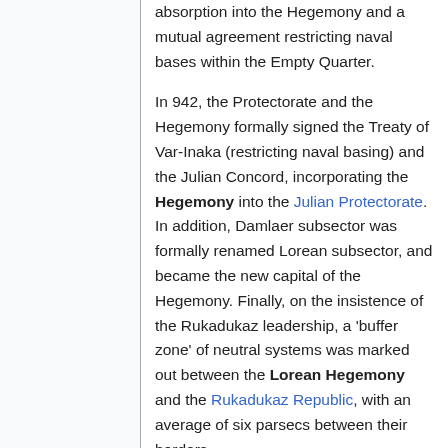absorption into the Hegemony and a mutual agreement restricting naval bases within the Empty Quarter.
In 942, the Protectorate and the Hegemony formally signed the Treaty of Var-Inaka (restricting naval basing) and the Julian Concord, incorporating the Hegemony into the Julian Protectorate. In addition, Damlaer subsector was formally renamed Lorean subsector, and became the new capital of the Hegemony. Finally, on the insistence of the Rukadukaz leadership, a 'buffer zone' of neutral systems was marked out between the Lorean Hegemony and the Rukadukaz Republic, with an average of six parsecs between their borders.
History-Era: Mileu 1100
No information yet available.